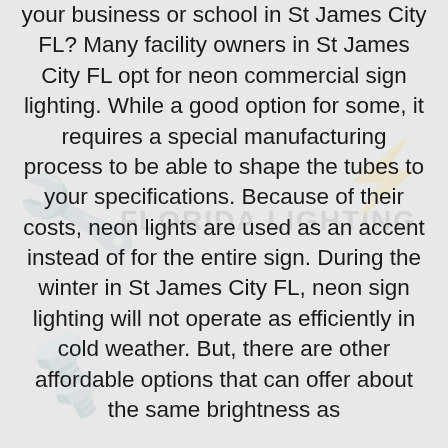your business or school in St James City FL? Many facility owners in St James City FL opt for neon commercial sign lighting. While a good option for some, it requires a special manufacturing process to be able to shape the tubes to your specifications. Because of their costs, neon lights are used as an accent instead of for the entire sign. During the winter in St James City FL, neon sign lighting will not operate as efficiently in cold weather. But, there are other affordable options that can offer about the same brightness as